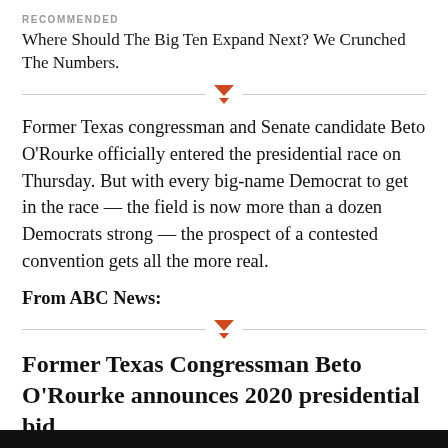RECOMMENDED
Where Should The Big Ten Expand Next? We Crunched The Numbers.
Former Texas congressman and Senate candidate Beto O’Rourke officially entered the presidential race on Thursday. But with every big-name Democrat to get in the race — the field is now more than a dozen Democrats strong — the prospect of a contested convention gets all the more real.
From ABC News:
Former Texas Congressman Beto O’Rourke announces 2020 presidential bid